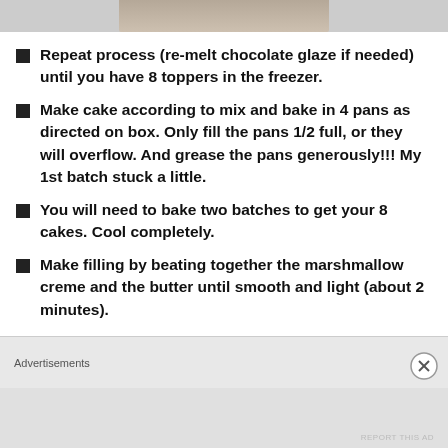[Figure (photo): Partial image strip at top of page, cropped]
Repeat process (re-melt chocolate glaze if needed) until you have 8 toppers in the freezer.
Make cake according to mix and bake in 4 pans as directed on box. Only fill the pans 1/2 full, or they will overflow. And grease the pans generously!!! My 1st batch stuck a little.
You will need to bake two batches to get your 8 cakes. Cool completely.
Make filling by beating together the marshmallow creme and the butter until smooth and light (about 2 minutes).
Slowly add the powdered sugar, beating on low...
Advertisements
REPORT THIS AD